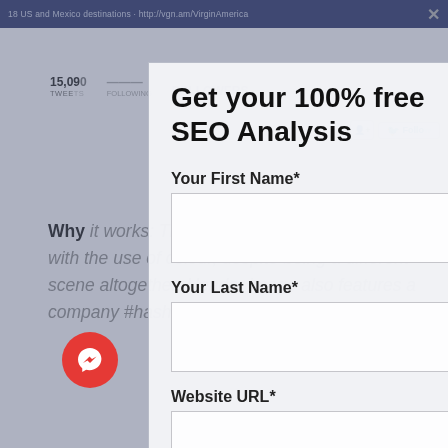[Figure (screenshot): Background screenshot of a social media profile page (likely Twitter) showing a tweet about Virgin America with 18 US and Mexico destinations link, tweet stats, text about avatar and header image, item #10 @doubleshot, and Starbucks Doubleshot brand content at bottom. A Facebook Messenger chat icon is visible bottom-left. A modal popup overlay appears on top showing a 'Get your 100% free SEO Analysis' form with fields for First Name, Last Name, Website URL, Email, and Phone Number.]
Get your 100% free SEO Analysis
Your First Name*
Your Last Name*
Website URL*
Your Email*
Phone Number*